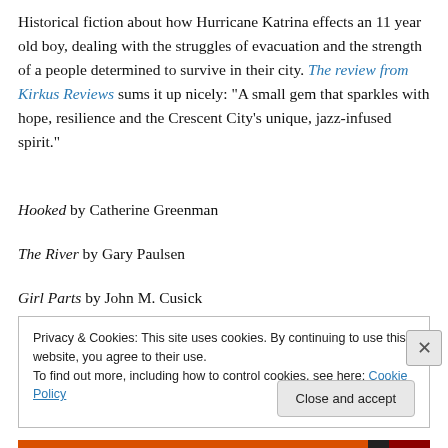Historical fiction about how Hurricane Katrina effects an 11 year old boy, dealing with the struggles of evacuation and the strength of a people determined to survive in their city. The review from Kirkus Reviews sums it up nicely: “A small gem that sparkles with hope, resilience and the Crescent City’s unique, jazz-infused spirit.”
Hooked by Catherine Greenman
The River by Gary Paulsen
Girl Parts by John M. Cusick
Privacy & Cookies: This site uses cookies. By continuing to use this website, you agree to their use. To find out more, including how to control cookies, see here: Cookie Policy
Close and accept